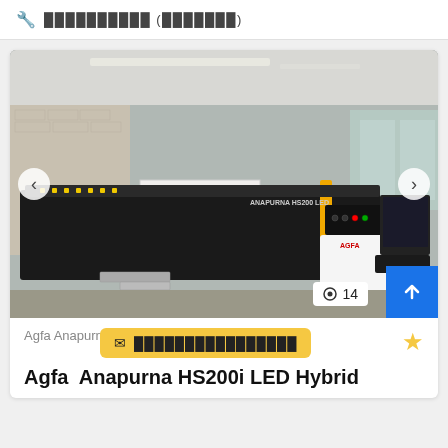🔧 ██████████ (███████)
[Figure (photo): Agfa Anapurna HS200i LED Hybrid large-format industrial printer in a warehouse/print shop setting. Black machine with yellow accents, computer workstation on the right side, brick wall in background.]
◉ 14
Agfa Anapurna H█
✉ ████████████████
Agfa  Anapurna HS200i LED Hybrid